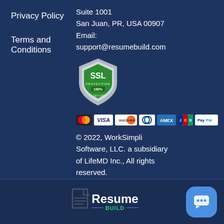Privacy Policy
Terms and Conditions
Suite 1001
San Juan, PR, USA 00907
Email:
support@resumebuild.com
[Figure (logo): SSL Protection 100% badge - green shield with SSL text]
[Figure (infographic): Payment method icons: Mastercard, VISA, Discover, Diners Club, AMEX, JCB, PayPal]
© 2022, WorkSimpli Software, LLC. a subsidiary of LifeMD Inc., All rights reserved.
[Figure (logo): ResumeBuild logo with document icon and BUILD text in green]
[Figure (illustration): Blue chat/messaging button icon]